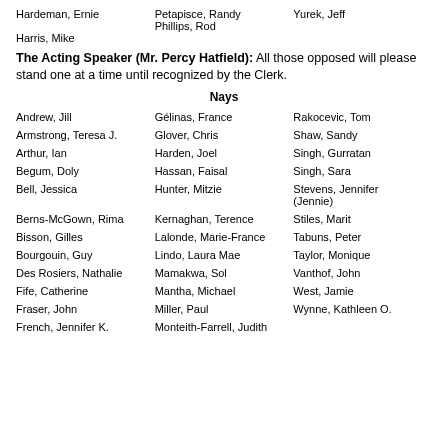Hardeman, Ernie
Petapisce, Randy
Yurek, Jeff
Phillips, Rod
Harris, Mike
The Acting Speaker (Mr. Percy Hatfield): All those opposed will please stand one at a time until recognized by the Clerk.
Nays
Andrew, Jill
Gélinas, France
Rakocevic, Tom
Armstrong, Teresa J.
Glover, Chris
Shaw, Sandy
Arthur, Ian
Harden, Joel
Singh, Gurratan
Begum, Doly
Hassan, Faisal
Singh, Sara
Bell, Jessica
Hunter, Mitzie
Stevens, Jennifer (Jennie)
Berns-McGown, Rima
Kernaghan, Terence
Stiles, Marit
Bisson, Gilles
Lalonde, Marie-France
Tabuns, Peter
Bourgouin, Guy
Lindo, Laura Mae
Taylor, Monique
Des Rosiers, Nathalie
Mamakwa, Sol
Vanthof, John
Fife, Catherine
Mantha, Michael
West, Jamie
Fraser, John
Miller, Paul
Wynne, Kathleen O.
French, Jennifer K.
Monteith-Farrell, Judith